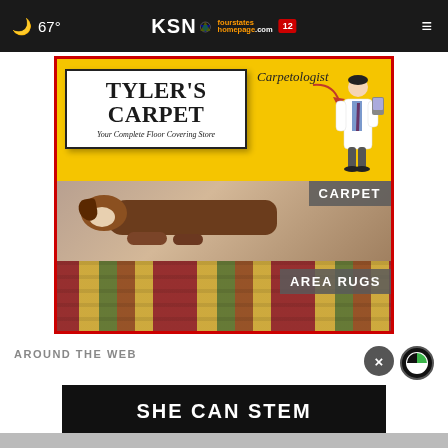67° KSN fourstates homepage.com 12
[Figure (advertisement): Tyler's Carpet advertisement. Top section: yellow background with 'Carpetologist' label and arrow pointing to a doctor figure, plus a white sign reading TYLER'S CARPET - Your Complete Floor Covering Store. Middle section: photo of a large St. Bernard dog lying on carpet with 'CARPET' label. Bottom section: photo of stacked colorful area rugs with 'AREA RUGS' label. Red border surrounds entire ad.]
AROUND THE WEB
[Figure (screenshot): Dark banner with white bold text reading 'SHE CAN STEM', with a close (×) button and Taboola icon in the upper right area.]